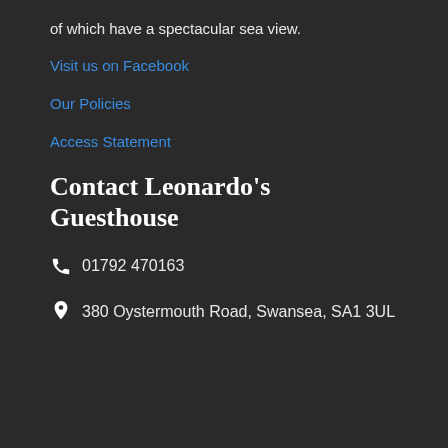of which have a spectacular sea view.
Visit us on Facebook
Our Policies
Access Statement
Contact Leonardo's Guesthouse
📞 01792 470163
📍 380 Oystermouth Road, Swansea, SA1 3UL